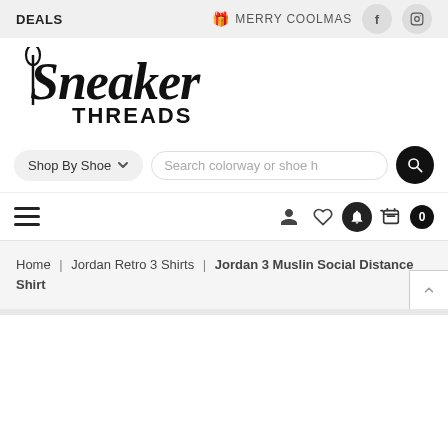DEALS | 🎁 MERRY COOLMAS
[Figure (logo): Sneaker Threads logo in black cursive script]
Shop By Shoe  ∨     Search colorway or shoe h
☰  user icon  ♡  bell  🛒 0
Home | Jordan Retro 3 Shirts | Jordan 3 Muslin Social Distance Shirt